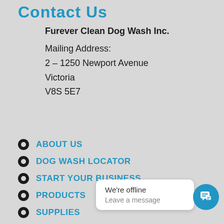Contact Us
Furever Clean Dog Wash Inc.
Mailing Address:
2 – 1250 Newport Avenue
Victoria
V8S 5E7
ABOUT US
DOG WASH LOCATOR
START YOUR BUSINESS
PRODUCTS
SUPPLIES
BLOGS/NEWS
[Figure (screenshot): Chat popup showing 'We're offline / Leave a message' with a blue chat button icon]